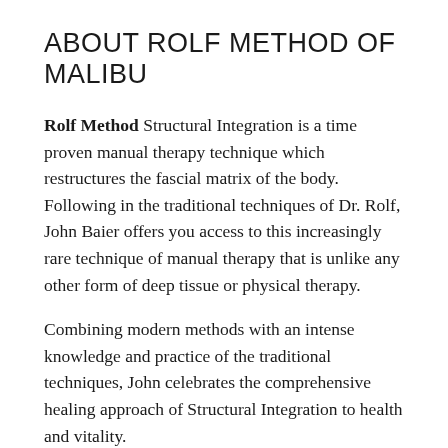ABOUT ROLF METHOD OF MALIBU
Rolf Method Structural Integration is a time proven manual therapy technique which restructures the fascial matrix of the body.  Following in the traditional techniques of Dr. Rolf, John Baier offers you access to this increasingly rare technique of manual therapy that is unlike any other form of deep tissue or physical therapy.
Combining modern methods with an intense knowledge and practice of the traditional techniques, John celebrates the comprehensive healing approach of Structural Integration to health and vitality.